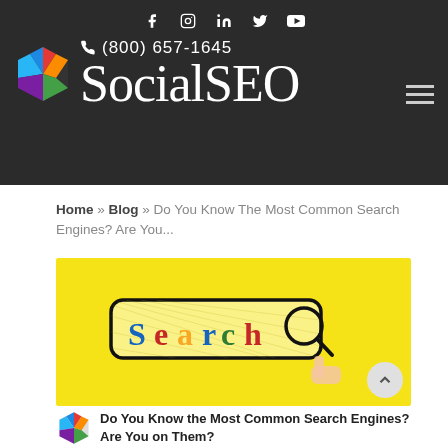f  in  y  ▶  ☎ (800) 657-1645  SocialSEO
Home » Blog » Do You Know The Most Common Search Engines? Are You...
[Figure (photo): Yellow background with a search bar illustration showing the word 'Search' in colorful letters with a magnifying glass icon]
Do You Know the Most Common Search Engines? Are You on Them?